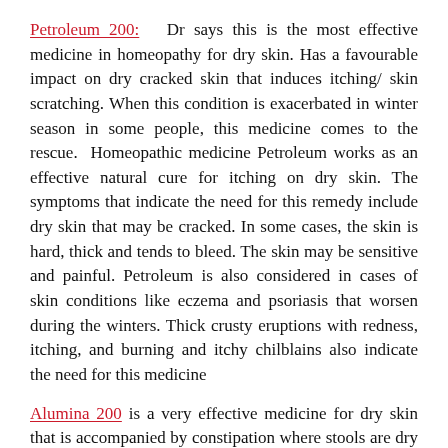Petroleum 200: Dr says this is the most effective medicine in homeopathy for dry skin. Has a favourable impact on dry cracked skin that induces itching/ skin scratching. When this condition is exacerbated in winter season in some people, this medicine comes to the rescue. Homeopathic medicine Petroleum works as an effective natural cure for itching on dry skin. The symptoms that indicate the need for this remedy include dry skin that may be cracked. In some cases, the skin is hard, thick and tends to bleed. The skin may be sensitive and painful. Petroleum is also considered in cases of skin conditions like eczema and psoriasis that worsen during the winters. Thick crusty eruptions with redness, itching, and burning and itchy chilblains also indicate the need for this medicine
Alumina 200 is a very effective medicine for dry skin that is accompanied by constipation where stools are dry and hard. Alumina is a natural medicine used to treat itching of skin that leads to bleeding when scratched. Following